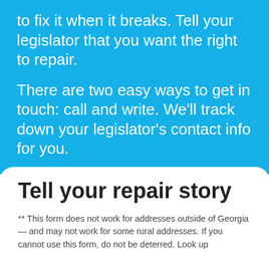to fix it when it breaks. Tell your legislator that you want the right to repair.
There are two easy ways to get in touch: call and write. We'll track down your legislator's contact info for you.
Tell your repair story
** This form does not work for addresses outside of Georgia — and may not work for some rural addresses. If you cannot use this form, do not be deterred. Look up